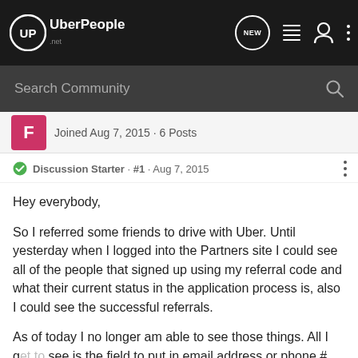UberPeople.net
Search Community
Joined Aug 7, 2015 · 6 Posts
Discussion Starter · #1 · Aug 7, 2015
Hey everybody,

So I referred some friends to drive with Uber. Until yesterday when I logged into the Partners site I could see all of the people that signed up using my referral code and what their current status in the application process is, also I could see the successful referrals.

As of today I no longer am able to see those things. All I get to see is the field to put in email address or phone # and underneath that the Twitter / Facebook referral graphic.